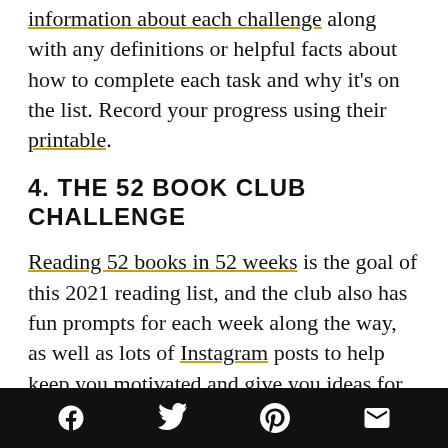information about each challenge along with any definitions or helpful facts about how to complete each task and why it's on the list. Record your progress using their printable.
4. THE 52 BOOK CLUB CHALLENGE
Reading 52 books in 52 weeks is the goal of this 2021 reading list, and the club also has fun prompts for each week along the way, as well as lots of Instagram posts to help keep you motivated and give you ideas for what books will fit the categories. Challenges include topics like reading a book published by an author who is over 65 years old at
Social share icons: Facebook, Twitter, Pinterest, Email